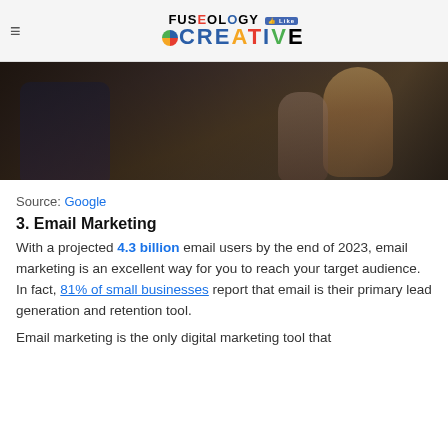Fuseology Creative
[Figure (photo): Dark photo of people exercising or doing fitness activity, viewed from behind/side, dark tone gym setting]
Source: Google
3. Email Marketing
With a projected 4.3 billion email users by the end of 2023, email marketing is an excellent way for you to reach your target audience. In fact, 81% of small businesses report that email is their primary lead generation and retention tool.
Email marketing is the only digital marketing tool that